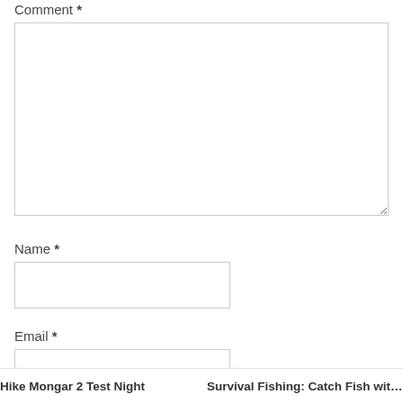Comment *
[Figure (other): Comment textarea input field]
Name *
[Figure (other): Name text input field]
Email *
[Figure (other): Email text input field]
Hike Mongar 2 Test Night    Survival Fishing: Catch Fish with th